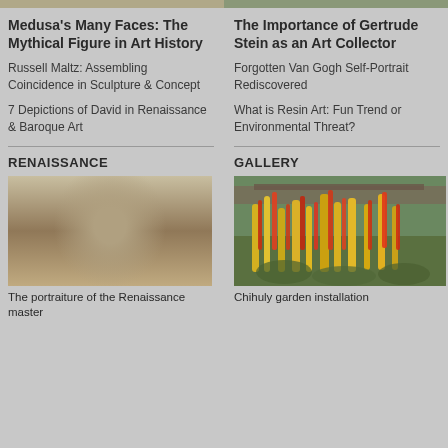[Figure (photo): Cropped top images showing artwork thumbnails - left side painting/sculpture, right side landscape/nature]
Medusa's Many Faces: The Mythical Figure in Art History
Russell Maltz: Assembling Coincidence in Sculpture & Concept
7 Depictions of David in Renaissance & Baroque Art
The Importance of Gertrude Stein as an Art Collector
Forgotten Van Gogh Self-Portrait Rediscovered
What is Resin Art: Fun Trend or Environmental Threat?
RENAISSANCE
GALLERY
[Figure (photo): Renaissance portrait painting of a young man wearing a dark hat, rendered in classical style, sepia/brown tones]
[Figure (photo): Gallery outdoor installation photo showing tall red and yellow glass sculptures in a desert/botanical garden setting]
The portrait in the style of a Renaissance master
Chihuly garden glass installation